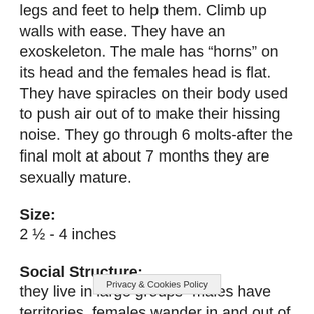legs and feet to help them. Climb up walls with ease. They have an exoskeleton. The male has “horns” on its head and the females head is flat. They have spiracles on their body used to push air out of to make their hissing noise. They go through 6 molts-after the final molt at about 7 months they are sexually mature.
Size:
2 ½ - 4 inches
Social Structure:
they live in large groups- males have territories, females wander in and out of territories. Other...
Privacy & Cookies Policy